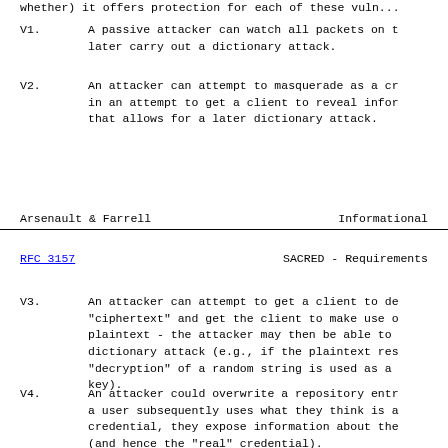whether) it offers protection for each of these vuln...
V1.   A passive attacker can watch all packets on t... later carry out a dictionary attack.
V2.   An attacker can attempt to masquerade as a cr... in an attempt to get a client to reveal infor... that allows for a later dictionary attack.
Arsenault & Farrell          Informational
RFC 3157                SACRED - Requirements
V3.   An attacker can attempt to get a client to de... "ciphertext" and get the client to make use o... plaintext - the attacker may then be able to... dictionary attack (e.g., if the plaintext res... "decryption" of a random string is used as a... key).
V4.   An attacker could overwrite a repository entr... a user subsequently uses what they think is a... credential, they expose information about the... (and hence the "real" credential).
V5.   An attacker can copy a credential server's re... carry out a dictionary attack.
V6.   An attacker can attempt to masquerade as a...